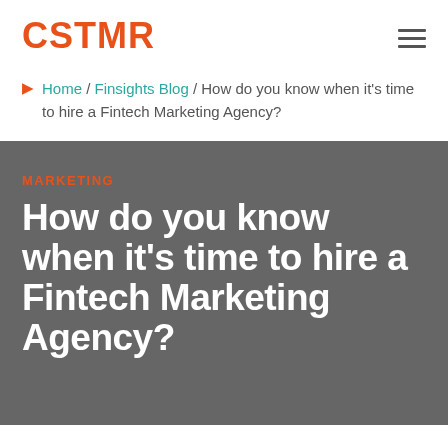CSTMR
Home / Finsights Blog / How do you know when it's time to hire a Fintech Marketing Agency?
MARKETING
How do you know when it's time to hire a Fintech Marketing Agency?